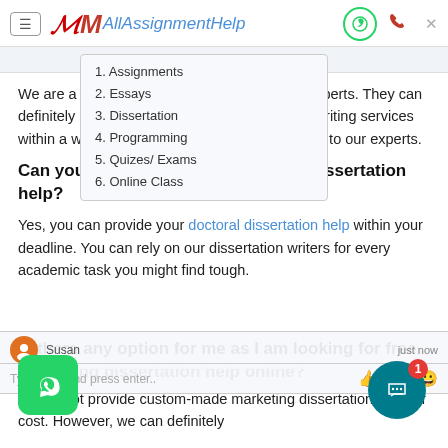AllAssignmentHelp
Hello, Are you looking for help in
We are a big team of experienced marketing experts. They can definitely provide you PhD writing dissertation writing services within a week. Stay relaxed and bring your work to our experts.
Can you provide me with a doctoral dissertation help?
Yes, you can provide your doctoral dissertation help within your deadline. You can rely on our dissertation writers for every academic task you might find tough.
Is there any option for me as I am looking for free marketing dissertation help online?
We do not provide custom-made marketing dissertations free of cost. However, we can definitely